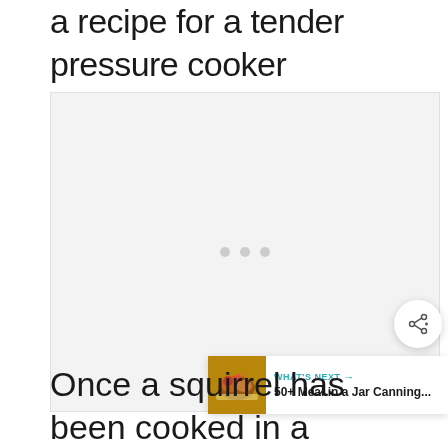a recipe for a tender pressure cooker squirrel.
[Figure (other): Advertisement placeholder area with three gray dots in the center, light gray background]
[Figure (other): Share button - circular white button with share/add icon]
[Figure (other): What's Next widget showing a food image thumbnail and text '50+ Meal in a Jar Canning...']
Once a squirrel has been cooked in a